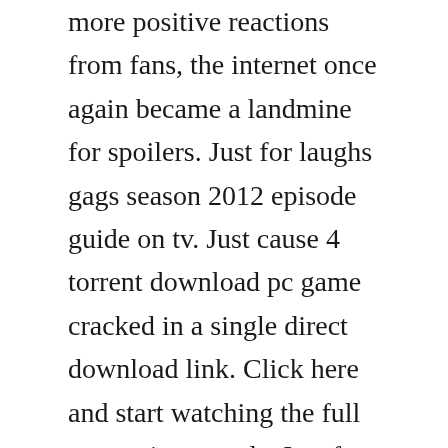more positive reactions from fans, the internet once again became a landmine for spoilers. Just for laughs gags season 2012 episode guide on tv. Just cause 4 torrent download pc game cracked in a single direct download link. Click here and start watching the full season in seconds. Just for laughs gags season 9 episode 3 izle vidivodo. Bring your host and produce your own show at the worlds largest and most prestigious comedy event this summer. May 01, 2015 top 10 just for laughs gags 2017 best pranks of just for laugh gags